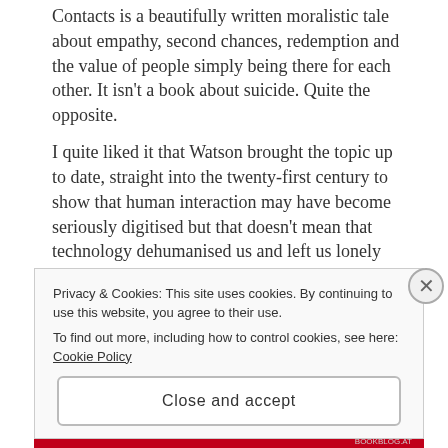Contacts is a beautifully written moralistic tale about empathy, second chances, redemption and the value of people simply being there for each other. It isn't a book about suicide. Quite the opposite.
I quite liked it that Watson brought the topic up to date, straight into the twenty-first century to show that human interaction may have become seriously digitised but that doesn't mean that technology dehumanised us and left us lonely and hopeless.
I enjoyed Watson's clear prose. It isn't emotive. It doesn't take centre stage and it doesn't take away
Privacy & Cookies: This site uses cookies. By continuing to use this website, you agree to their use.
To find out more, including how to control cookies, see here: Cookie Policy
Close and accept